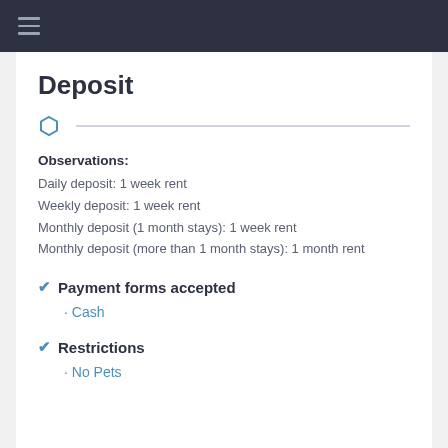≡
Deposit
Observations:
Daily deposit: 1 week rent
Weekly deposit: 1 week rent
Monthly deposit (1 month stays): 1 week rent
Monthly deposit (more than 1 month stays): 1 month rent
✓ Payment forms accepted
• Cash
✓ Restrictions
• No Pets